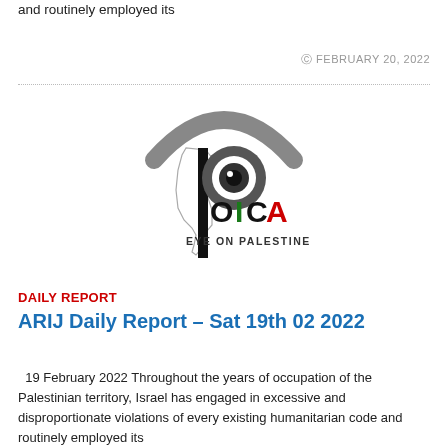and routinely employed its
© FEBRUARY 20, 2022
[Figure (logo): POICA Eye on Palestine logo — stylized eye above the letter P with a map of Palestine, followed by OICA in black, green, and red letters, with tagline EYE ON PALESTINE]
DAILY REPORT
ARIJ Daily Report – Sat 19th 02 2022
19 February 2022 Throughout the years of occupation of the Palestinian territory, Israel has engaged in excessive and disproportionate violations of every existing humanitarian code and routinely employed its